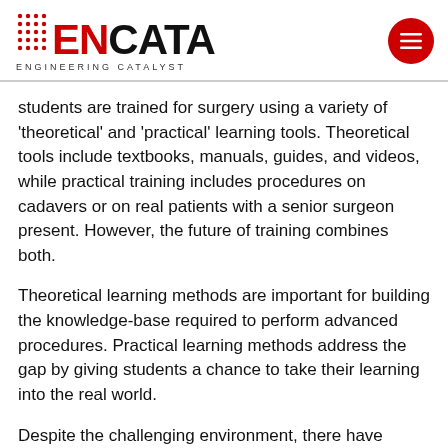ENCATA ENGINEERING CATALYST
students are trained for surgery using a variety of ‘theoretical’ and ‘practical’ learning tools. Theoretical tools include textbooks, manuals, guides, and videos, while practical training includes procedures on cadavers or on real patients with a senior surgeon present. However, the future of training combines both.
Theoretical learning methods are important for building the knowledge-base required to perform advanced procedures. Practical learning methods address the gap by giving students a chance to take their learning into the real world.
Despite the challenging environment, there have recently been some remarkable innovations in the field of surgery, such as HD scopes, smart surgical glasses, and surgical robots. However, today’s most common practical learning